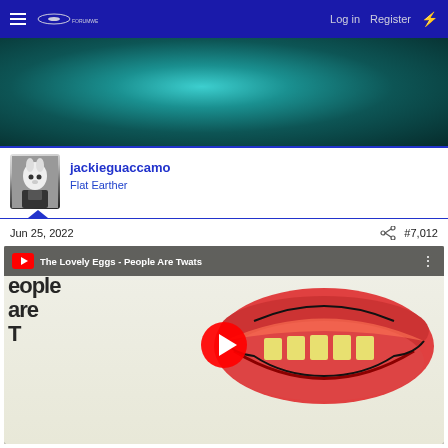Log in  Register
[Figure (screenshot): Forum website header navigation bar with hamburger menu, logo, Log in and Register links, and lightning bolt icon on dark blue background]
[Figure (photo): Abstract teal/dark teal underwater or textured surface hero image]
jackieguaccamo
Flat Earther
Jun 25, 2022
#7,012
[Figure (screenshot): YouTube video thumbnail for 'The Lovely Eggs - People Are Twats' showing text on fabric and illustrated lips artwork with a red YouTube play button overlay]